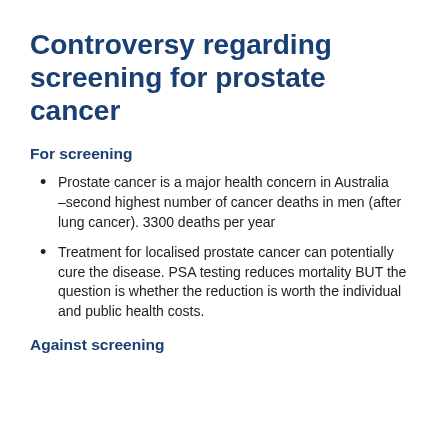Controversy regarding screening for prostate cancer
For screening
Prostate cancer is a major health concern in Australia –second highest number of cancer deaths in men (after lung cancer). 3300 deaths per year
Treatment for localised prostate cancer can potentially cure the disease. PSA testing reduces mortality BUT the question is whether the reduction is worth the individual and public health costs.
Against screening